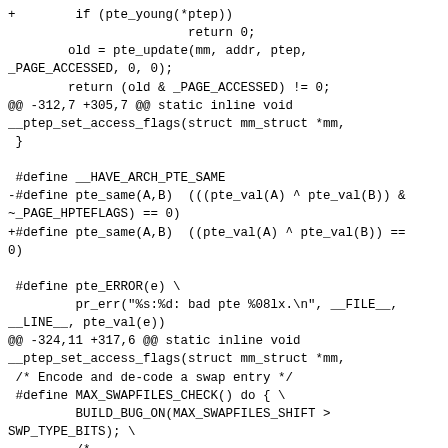Code diff showing changes to pte_young, pte_same, pte_ERROR, MAX_SWAPFILES_CHECK macros and related page table entry handling code in a Linux kernel patch.